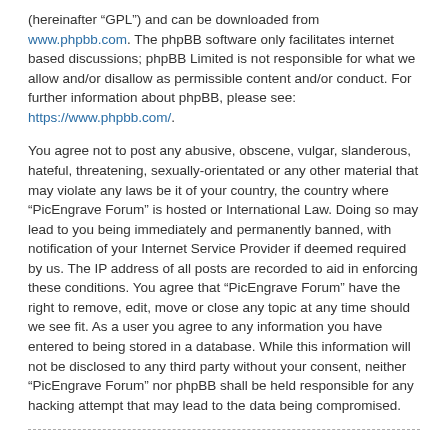(hereinafter “GPL”) and can be downloaded from www.phpbb.com. The phpBB software only facilitates internet based discussions; phpBB Limited is not responsible for what we allow and/or disallow as permissible content and/or conduct. For further information about phpBB, please see: https://www.phpbb.com/.
You agree not to post any abusive, obscene, vulgar, slanderous, hateful, threatening, sexually-orientated or any other material that may violate any laws be it of your country, the country where “PicEngrave Forum” is hosted or International Law. Doing so may lead to you being immediately and permanently banned, with notification of your Internet Service Provider if deemed required by us. The IP address of all posts are recorded to aid in enforcing these conditions. You agree that “PicEngrave Forum” have the right to remove, edit, move or close any topic at any time should we see fit. As a user you agree to any information you have entered to being stored in a database. While this information will not be disclosed to any third party without your consent, neither “PicEngrave Forum” nor phpBB shall be held responsible for any hacking attempt that may lead to the data being compromised.
Back to login screen
https://www.picengrave.com ‹ Board index
Powered by phpBB® Forum Software © phpBB Limited